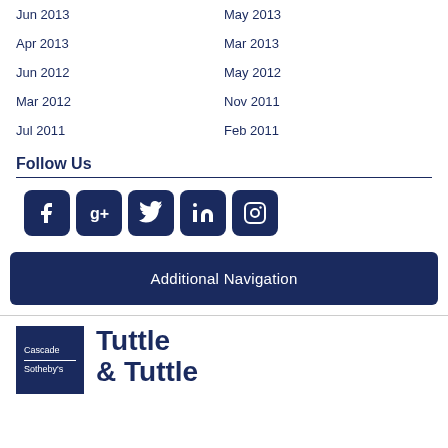Jun 2013
May 2013
Apr 2013
Mar 2013
Jun 2012
May 2012
Mar 2012
Nov 2011
Jul 2011
Feb 2011
Follow Us
[Figure (illustration): Social media icons: Facebook, Google+, Twitter, LinkedIn, Instagram]
Additional Navigation
[Figure (logo): Cascade Sotheby's / Tuttle & Tuttle logo]